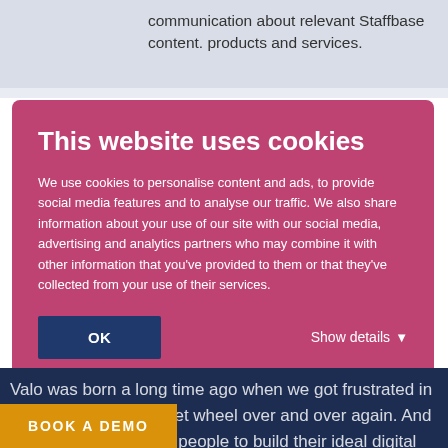communication about relevant Staffbase content. products and services.
This website uses cookies
We use cookies to personalise content and ads, to provide social media features and to analyse our traffic. We also share information about your use of our site with our social media, advertising and analytics partners who may combine it with other information that you've provided to them or that they've collected from your use of their services.
Valo was born a long time ago when we got frustrated in re-inventing the intranet wheel over and over again. And [stronger] than ever, helping people to build their ideal digital workplace with our award-winning